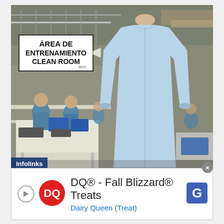[Figure (photo): Photograph of a garment manufacturing facility (clean room training area) with workers in blue uniforms sewing at tables, a sign reading 'ÁREA DE ENTRENAMIENTO CLEAN ROOM' with the 'deco' brand, and a light blue cleanroom lab coat/gown on a mannequin in the foreground right]
[Figure (screenshot): Infolinks advertisement overlay showing a Dairy Queen ad: 'DQ® - Fall Blizzard® Treats / Dairy Queen (Treat)' with DQ logo and Google ads logo on the right, and a close (×) button in the upper right corner]